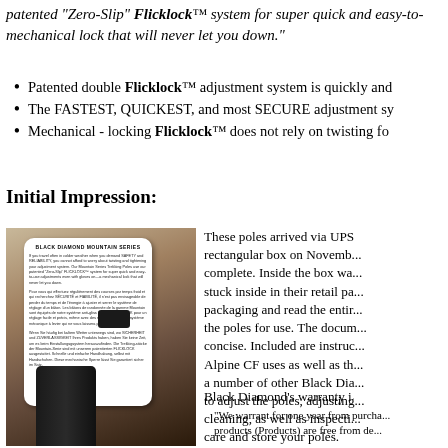patented "Zero-Slip" Flicklock™ system for super quick and easy-to-use adjustments even with gloves on—a mechanical lock that will never let you down."
Patented double Flicklock™ adjustment system is quickly and...
The FASTEST, QUICKEST, and most SECURE adjustment sy...
Mechanical - locking Flicklock™ does not rely on twisting fo...
Initial Impression:
[Figure (photo): Photo of Black Diamond Mountain Series trekking pole packaging card with a Flicklock mechanical lock mechanism visible, resting on a textured background.]
These poles arrived via UPS in a rectangular box on November... complete. Inside the box was... stuck inside in their retail pa... packaging and read the entir... the poles for use. The docu... concise. Included are instru... Alpine CF uses as well as th... a number of other Black Dia... to adjust the poles, adjusting... cleaning, as well as inspecti... care and store your poles.
Black Diamond's warranty i...
"We warrant for one year from purcha... products (Products) are free from de...